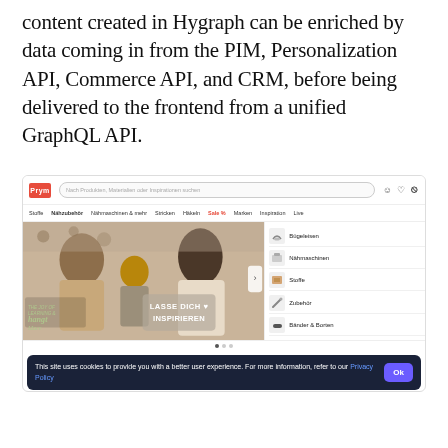content created in Hygraph can be enriched by data coming in from the PIM, Personalization API, Commerce API, and CRM, before being delivered to the frontend from a unified GraphQL API.
[Figure (screenshot): Screenshot of the Prym e-commerce website showing a navigation bar with logo and search, category menu items (Stoffe, Nähzubehör, Nähmaschinen & mehr, Stricken, Häkeln, Sale%, Marken, Inspiration, Live), a hero image of women crafting with text 'LASSE DICH INSPIRIEREN', and a right sidebar with category links: Bügeleisen, Nähmaschinen, Stoffe, Zubehör, Bänder & Borten. A cookie consent banner at the bottom reads: 'This site uses cookies to provide you with a better user experience. For more information, refer to our Privacy Policy' with an Ok button.]
This site uses cookies to provide you with a better user experience. For more information, refer to our Privacy Policy